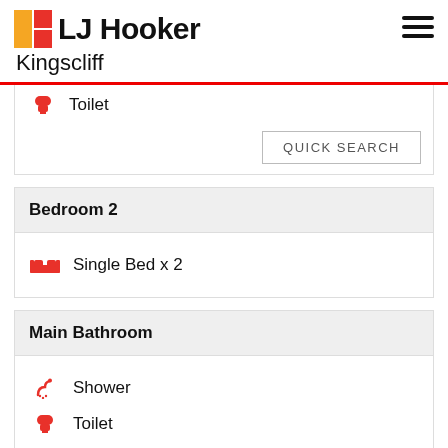[Figure (logo): LJ Hooker Kingscliff logo with yellow and red square icon, hamburger menu icon top right]
Toilet
QUICK SEARCH
Bedroom 2
Single Bed x 2
Main Bathroom
Shower
Toilet